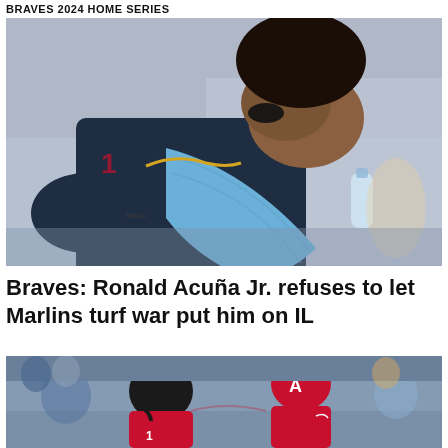BRAVES 2024 HOME SERIES
[Figure (photo): Baseball player in Atlanta Braves uniform sitting in dugout with head in hands, wearing blue compression sleeve, appearing dejected]
Braves: Ronald Acuña Jr. refuses to let Marlins turf war put him on IL
[Figure (photo): Two Atlanta Braves players in red uniforms celebrating in the dugout, with one player wearing helmet labeled ACUÑA JR]